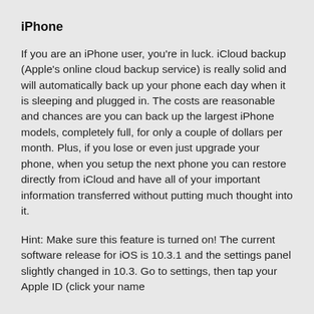iPhone
If you are an iPhone user, you’re in luck. iCloud backup (Apple’s online cloud backup service) is really solid and will automatically back up your phone each day when it is sleeping and plugged in. The costs are reasonable and chances are you can back up the largest iPhone models, completely full, for only a couple of dollars per month. Plus, if you lose or even just upgrade your phone, when you setup the next phone you can restore directly from iCloud and have all of your important information transferred without putting much thought into it.
Hint: Make sure this feature is turned on! The current software release for iOS is 10.3.1 and the settings panel slightly changed in 10.3. Go to settings, then tap your Apple ID (click your name